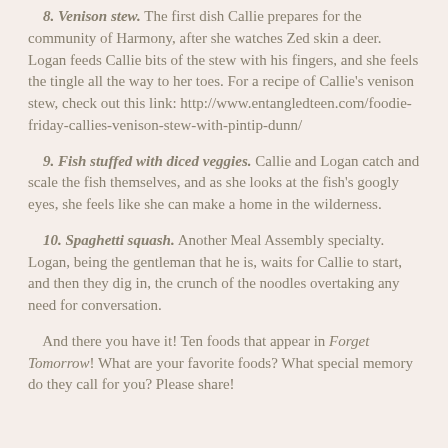8. Venison stew. The first dish Callie prepares for the community of Harmony, after she watches Zed skin a deer. Logan feeds Callie bits of the stew with his fingers, and she feels the tingle all the way to her toes. For a recipe of Callie's venison stew, check out this link: http://www.entangledteen.com/foodie-friday-callies-venison-stew-with-pintip-dunn/
9. Fish stuffed with diced veggies. Callie and Logan catch and scale the fish themselves, and as she looks at the fish's googly eyes, she feels like she can make a home in the wilderness.
10. Spaghetti squash. Another Meal Assembly specialty. Logan, being the gentleman that he is, waits for Callie to start, and then they dig in, the crunch of the noodles overtaking any need for conversation.
And there you have it! Ten foods that appear in Forget Tomorrow! What are your favorite foods? What special memory do they call for you? Please share!